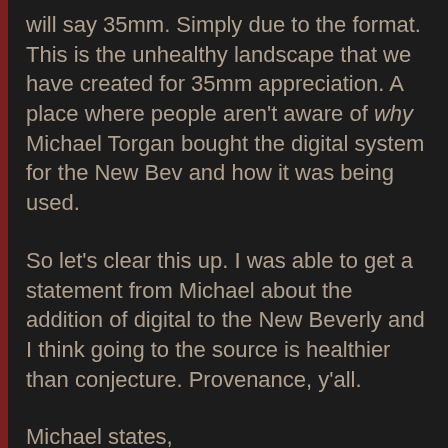will say 35mm. Simply due to the format. This is the unhealthy landscape that we have created for 35mm appreciation. A place where people aren't aware of why Michael Torgan bought the digital system for the New Bev and how it was being used.
So let's clear this up. I was able to get a statement from Michael about the addition of digital to the New Beverly and I think going to the source is healthier than conjecture. Provenance, y'all.
Michael states,